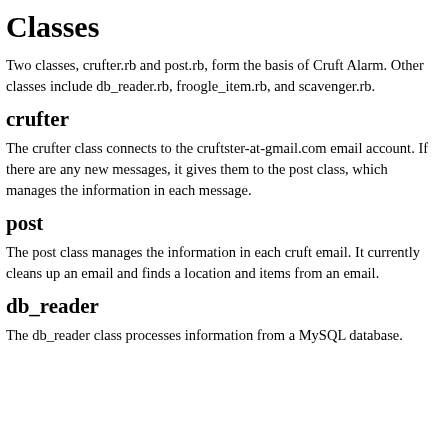Classes
Two classes, crufter.rb and post.rb, form the basis of Cruft Alarm. Other classes include db_reader.rb, froogle_item.rb, and scavenger.rb.
crufter
The crufter class connects to the cruftster-at-gmail.com email account. If there are any new messages, it gives them to the post class, which manages the information in each message.
post
The post class manages the information in each cruft email. It currently cleans up an email and finds a location and items from an email.
db_reader
The db_reader class processes information from a MySQL database.